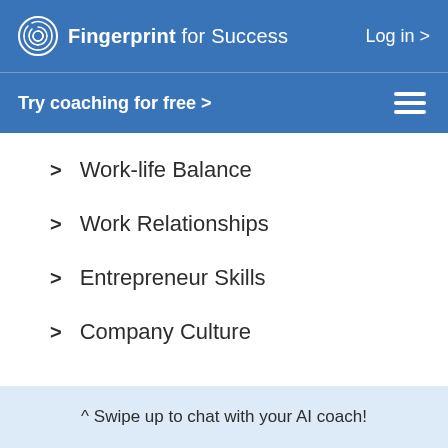Fingerprint for Success   Log in >
Try coaching for free >
Work-life Balance
Work Relationships
Entrepreneur Skills
Company Culture
^ Swipe up to chat with your AI coach!